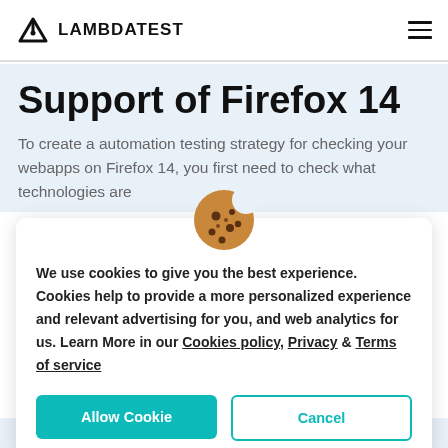LAMBDATEST
Support of Firefox 14
To create a automation testing strategy for checking your webapps on Firefox 14, you first need to check what technologies are
[Figure (illustration): Cookie emoji icon]
We use cookies to give you the best experience. Cookies help to provide a more personalized experience and relevant advertising for you, and web analytics for us. Learn More in our Cookies policy, Privacy & Terms of service
Allow Cookie | Cancel
Supported (some prefix)    At least partially supported